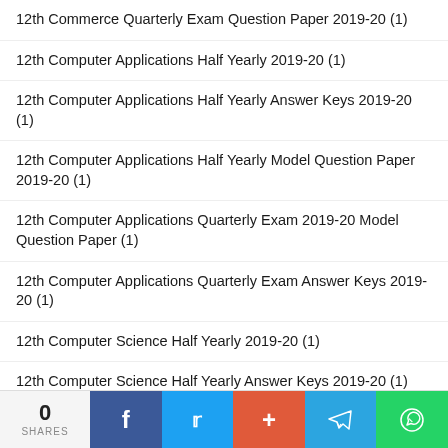12th Commerce Quarterly Exam Question Paper 2019-20 (1)
12th Computer Applications Half Yearly 2019-20 (1)
12th Computer Applications Half Yearly Answer Keys 2019-20 (1)
12th Computer Applications Half Yearly Model Question Paper 2019-20 (1)
12th Computer Applications Quarterly Exam 2019-20 Model Question Paper (1)
12th Computer Applications Quarterly Exam Answer Keys 2019-20 (1)
12th Computer Science Half Yearly 2019-20 (1)
12th Computer Science Half Yearly Answer Keys 2019-20 (1)
12th Computer Science Half Yearly Model Question Paper 2019-20 (1)
0 SHARES | Facebook | Twitter | Google+ | Telegram | WhatsApp